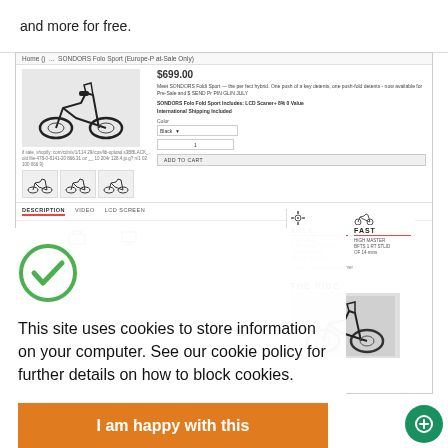and more for free.
[Figure (screenshot): Screenshot of a product page for SONDORS Folo Sport (Europe/At-Sale Only) showing an e-bike priced at $699.00 with product images, description, color selector, quantity box, ADD TO CART button, and DESCRIPTION/VIDEO/LCD SCREEN tabs. Below the tabs are icons and product specification columns labeled ABLE/FAST with spec rows, followed by THE RIDE. text and a bike image.]
[Figure (screenshot): Cookie consent overlay with green checkmark circle and text: 'This site uses cookies to store information on your computer. See our cookie policy for further details on how to block cookies.' with an orange 'I am happy with this' button.]
This site uses cookies to store information on your computer. See our cookie policy for further details on how to block cookies.
I am happy with this
[Figure (screenshot): Teal View On Scribd button at the bottom of the page, and a green chat bubble icon in the bottom right corner.]